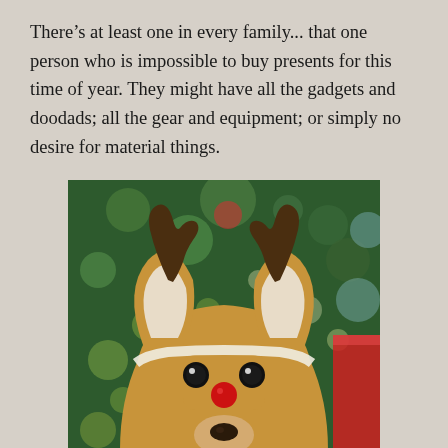There's at least one in every family... that one person who is impossible to buy presents for this time of year. They might have all the gadgets and doodads; all the gear and equipment; or simply no desire for material things.
[Figure (photo): A dog wearing a reindeer costume hat with antlers, big ears, and a red nose, in front of a blurred Christmas tree with bokeh lights.]